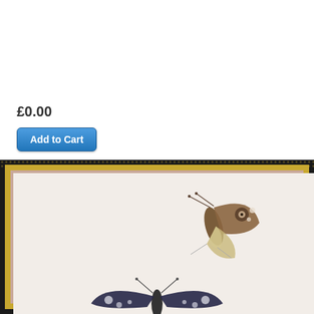£0.00
Add to Cart
[Figure (photo): Framed illustration showing two butterflies — an upper butterfly with brown and cream closed wings with eye spots, and a lower butterfly with dark wings with white spots — displayed in a gold and black frame on a light background, photographed at an angle.]